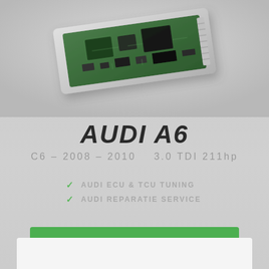[Figure (photo): Electronic control unit (ECU) circuit board module for Audi A6, shown from above on a light gray background]
AUDI A6
C6 - 2008 - 2010   3.0 TDI 211hp
AUDI ECU & TCU TUNING
AUDI REPARATIE SERVICE
FIND YOUR TVS DEALER